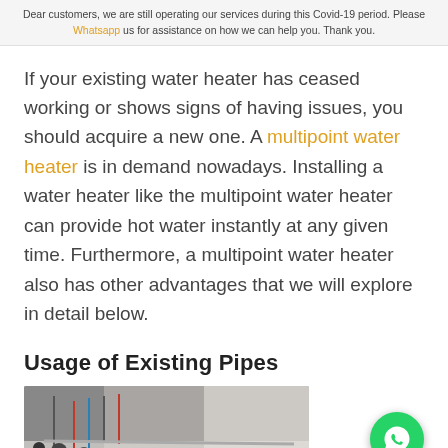Dear customers, we are still operating our services during this Covid-19 period. Please Whatsapp us for assistance on how we can help you. Thank you.
If your existing water heater has ceased working or shows signs of having issues, you should acquire a new one. A multipoint water heater is in demand nowadays. Installing a water heater like the multipoint water heater can provide hot water instantly at any given time. Furthermore, a multipoint water heater also has other advantages that we will explore in detail below.
Usage of Existing Pipes
[Figure (photo): Photo of water heater installation showing pipes and wiring underneath a unit]